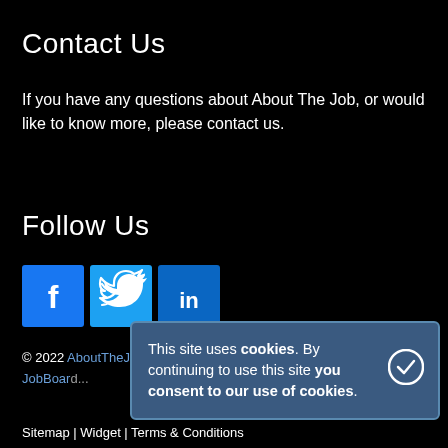Contact Us
If you have any questions about About The Job, or would like to know more, please contact us.
Follow Us
[Figure (illustration): Three social media icons: Facebook (blue square with f), Twitter (light blue square with bird), LinkedIn (dark blue square with in)]
© 2022 AboutTheJob. JobBoar...
This site uses cookies. By continuing to use this site you consent to our use of cookies.
Sitemap | Widget | Terms & Conditions